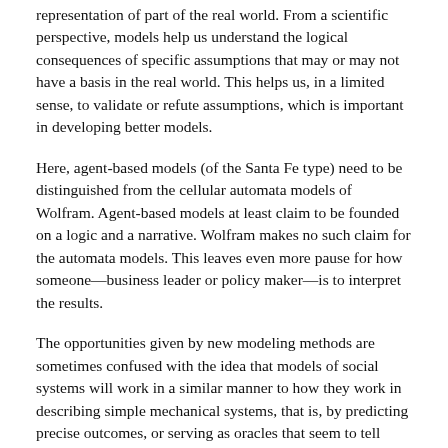representation of part of the real world. From a scientific perspective, models help us understand the logical consequences of specific assumptions that may or may not have a basis in the real world. This helps us, in a limited sense, to validate or refute assumptions, which is important in developing better models.
Here, agent-based models (of the Santa Fe type) need to be distinguished from the cellular automata models of Wolfram. Agent-based models at least claim to be founded on a logic and a narrative. Wolfram makes no such claim for the automata models. This leaves even more pause for how someone—business leader or policy maker—is to interpret the results.
The opportunities given by new modeling methods are sometimes confused with the idea that models of social systems will work in a similar manner to how they work in describing simple mechanical systems, that is, by predicting precise outcomes, or serving as oracles that seem to tell absolute truths. Hereafter in this article this view shall be referred to as the “merely study models” or MSM perspective. There are scientifically based reasons (especially within the complexity community) to expect that models cannot serve us in the way that representationalist MSM proponents believe. Moreover, achieving models that can serve as transparent and